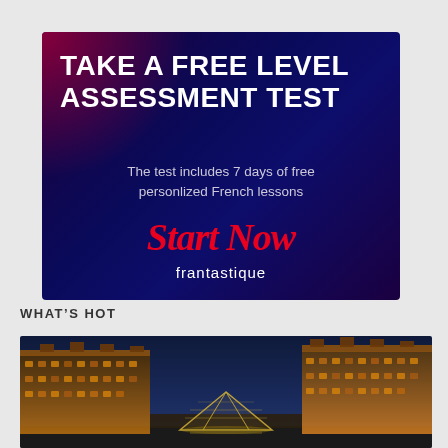[Figure (illustration): Dark navy/purple gradient advertisement banner with red accent for Frantastique French lessons. Title: 'TAKE A FREE LEVEL ASSESSMENT TEST'. Subtitle: 'The test includes 7 days of free personlized French lessons'. Script text: 'Start Now'. Brand name: 'frantastique'.]
WHAT'S HOT
[Figure (photo): Night-time photograph of the Louvre Museum in Paris, showing the glass pyramid illuminated in the center courtyard, with the classical French Renaissance palace buildings lit up on either side against a deep blue evening sky.]